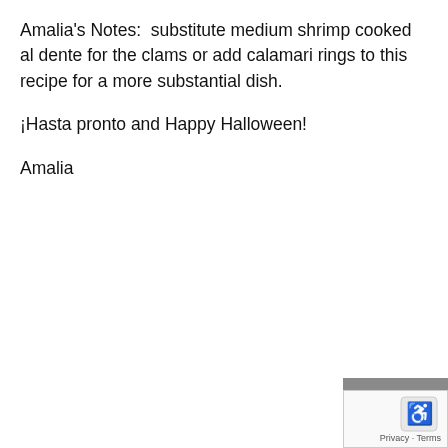Amalia's Notes:  substitute medium shrimp cooked al dente for the clams or add calamari rings to this recipe for a more substantial dish.
¡Hasta pronto and Happy Halloween!
Amalia
[Figure (other): reCAPTCHA widget in bottom-right corner with gray bar, checkbox icon, and Privacy - Terms links]